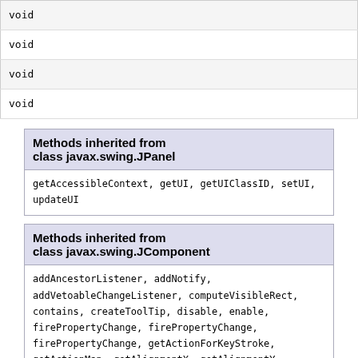| void |
| void |
| void |
| void |
| Methods inherited from class javax.swing.JPanel |
| --- |
| getAccessibleContext, getUI, getUIClassID, setUI, updateUI |
| Methods inherited from class javax.swing.JComponent |
| --- |
| addAncestorListener, addNotify, addVetoableChangeListener, computeVisibleRect, contains, createToolTip, disable, enable, firePropertyChange, firePropertyChange, firePropertyChange, getActionForKeyStroke, getActionMap, getAlignmentX, getAlignmentY, getAncestorListeners, getAutoscrolls, getBaseline, getBaselineResizeBehavior, getBorder, getBounds, getClientProperty, getComponentPopupMenu, |